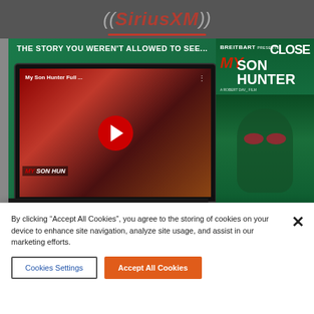[Figure (screenshot): SiriusXM logo/header bar at top of webpage]
[Figure (screenshot): Breitbart 'My Son Hunter' movie advertisement banner with YouTube video embed showing laptop with film thumbnail, play button, watch the trailer text, FBI badge, mysonhunter.com URL, and right side showing movie poster with man in red sunglasses smoking, Coming Sept 7, Pre-Order Now button]
READ MORE STORIES ABOUT:
Clips, Health, Politics, Chuck Schumer, Donald Trump, Morning Joe, MSNBC
By clicking “Accept All Cookies”, you agree to the storing of cookies on your device to enhance site navigation, analyze site usage, and assist in our marketing efforts.
Cookies Settings
Accept All Cookies